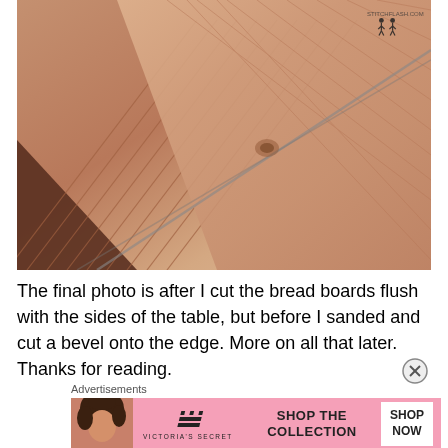[Figure (photo): Close-up photograph of a wooden table top showing herringbone/diagonal plank pattern with visible wood grain, knots, and warm reddish-brown tones. The boards meet at diagonal angles forming a distinctive pattern. A small watermark with running figures is visible in the upper right corner.]
The final photo is after I cut the bread boards flush with the sides of the table, but before I sanded and cut a bevel onto the edge. More on all that later. Thanks for reading.
Advertisements
[Figure (photo): Victoria's Secret advertisement banner with pink background showing a model with curly hair on the left, VS logo in the center-left, 'SHOP THE COLLECTION' text in the center, and a white 'SHOP NOW' button on the right.]